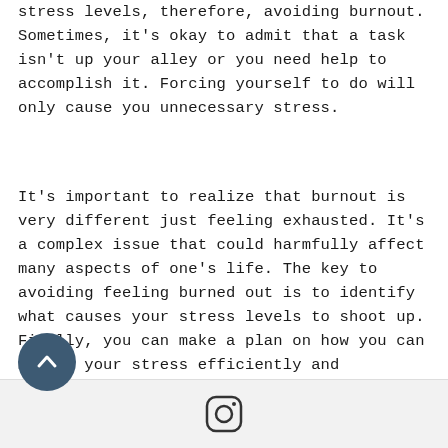stress levels, therefore, avoiding burnout. Sometimes, it's okay to admit that a task isn't up your alley or you need help to accomplish it. Forcing yourself to do will only cause you unnecessary stress.
It's important to realize that burnout is very different just feeling exhausted. It's a complex issue that could harmfully affect many aspects of one's life. The key to avoiding feeling burned out is to identify what causes your stress levels to shoot up. Finally, you can make a plan on how you can manage your stress efficiently and healthily.
[Figure (other): Instagram logo icon in a rounded square outline style]